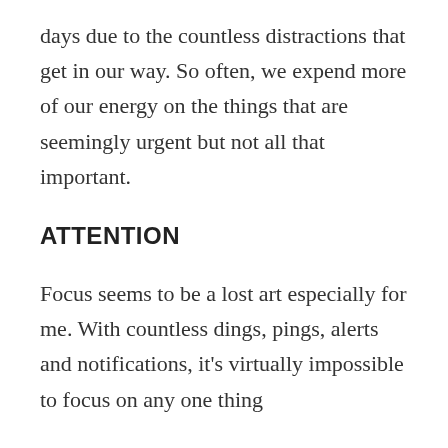days due to the countless distractions that get in our way. So often, we expend more of our energy on the things that are seemingly urgent but not all that important.
ATTENTION
Focus seems to be a lost art especially for me. With countless dings, pings, alerts and notifications, it's virtually impossible to focus on any one thing